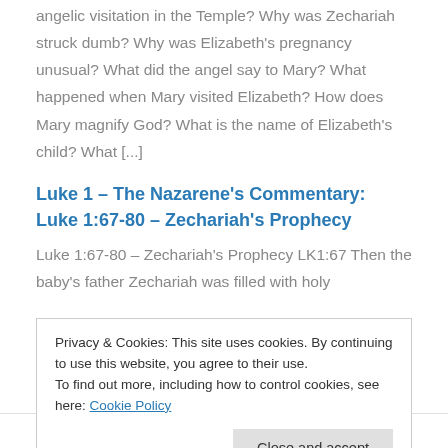angelic visitation in the Temple? Why was Zechariah struck dumb? Why was Elizabeth's pregnancy unusual? What did the angel say to Mary? What happened when Mary visited Elizabeth? How does Mary magnify God? What is the name of Elizabeth's child? What [...]
Luke 1 – The Nazarene's Commentary: Luke 1:67-80 – Zechariah's Prophecy
Luke 1:67-80 – Zechariah's Prophecy LK1:67 Then the baby's father Zechariah was filled with holy
Privacy & Cookies: This site uses cookies. By continuing to use this website, you agree to their use.
To find out more, including how to control cookies, see here: Cookie Policy
Close and accept
His account Daniella Heaven [Psalm 199:47] LK1:70